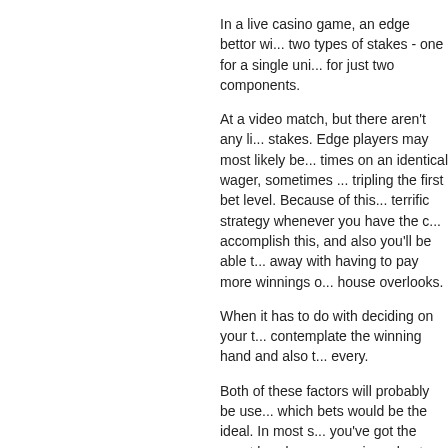In a live casino game, an edge bettor will find two types of stakes - one for a single uni... for just two components.
At a video match, but there aren't any lim... stakes. Edge players may most likely be... times on an identical wager, sometimes... tripling the first bet level. Because of this... terrific strategy whenever you have the o... accomplish this, and also you'll be able t... away with having to pay more winnings o... house overlooks.
When it has to do with deciding on your t... contemplate the winning hand and also t... every.
Both of these factors will probably be use... which bets would be the ideal. In most s... you've got the worst hand, you are going... best odds of winning the marijuana ; if yo... ideal hand, you also stand a fantastic op... winning the marijuana. If you might have... total score, however, you've got much le... of profitable the overall rating. This is wh... players end upward, since they usually o... reduce too much money whenever they ... game.
Voir en ligne : ???????